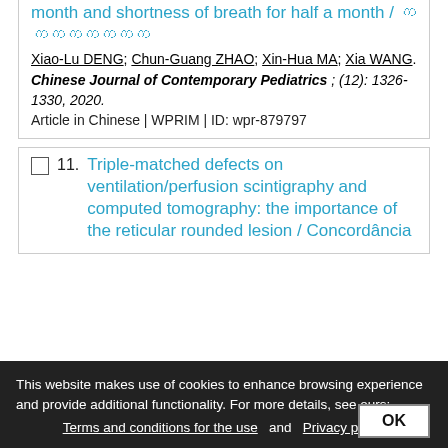month and shortness of breath for half a month / 呼吸困难一个月
Xiao-Lu DENG; Chun-Guang ZHAO; Xin-Hua MA; Xia WANG.
Chinese Journal of Contemporary Pediatrics ; (12): 1326-1330, 2020.
Article in Chinese | WPRIM | ID: wpr-879797
Triple-matched defects on ventilation/perfusion scintigraphy and computed tomography: the importance of the reticular rounded lesion / Concordância
This website makes use of cookies to enhance browsing experience and provide additional functionality. For more details, see ours: Terms and conditions for the use and Privacy policy
OK